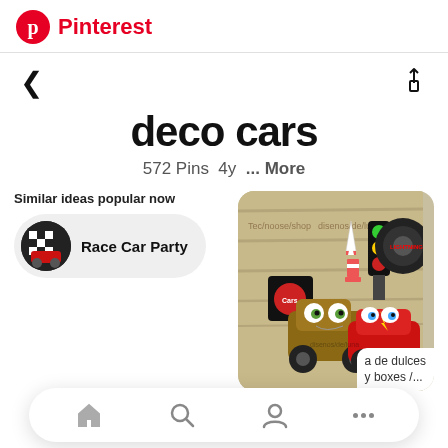Pinterest
deco cars
572 Pins 4y ... More
Similar ideas popular now
Race Car Party
[Figure (photo): Disney Cars themed decorations: cardboard Mater and Lightning McQueen figures, traffic light, race cone, wheel, and Cars movie themed boxes on wooden surface]
a de dulces y boxes /...
Home | Search | Profile | More